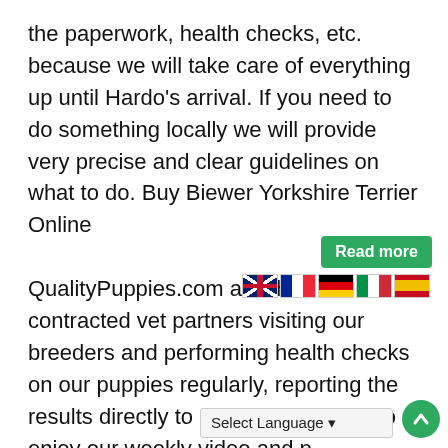the paperwork, health checks, etc. because we will take care of everything up until Hardo's arrival. If you need to do something locally we will provide very precise and clear guidelines on what to do. Buy Biewer Yorkshire Terrier Online
QualityPuppies.com also has contracted vet partners visiting our breeders and performing health checks on our puppies regularly, reporting the results directly to us. You only have to enjoy our weekly video and photo updates about your gorgeous puppy while we are in 24/7 touch with you. Hardo's